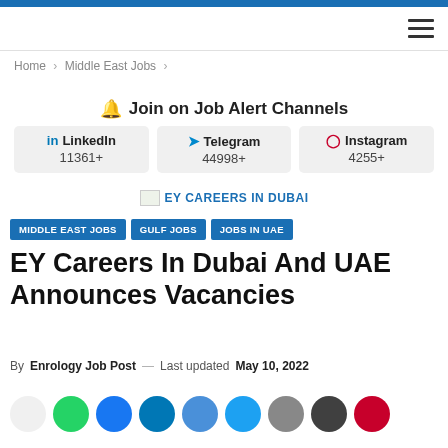Home > Middle East Jobs >
🔔 Join on Job Alert Channels
[Figure (infographic): Three social channel boxes: LinkedIn 11361+, Telegram 44998+, Instagram 4255+]
[Figure (other): EY CAREERS IN DUBAI banner image with placeholder]
MIDDLE EAST JOBS   GULF JOBS   JOBS IN UAE
EY Careers In Dubai And UAE Announces Vacancies
By Enrology Job Post — Last updated May 10, 2022
[Figure (other): Social sharing buttons row]